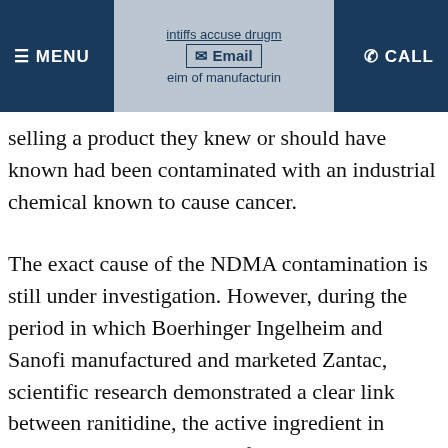MENU | Email | CALL — intiffs accuse drugmakers / eim of manufacturin
selling a product they knew or should have known had been contaminated with an industrial chemical known to cause cancer.
The exact cause of the NDMA contamination is still under investigation. However, during the period in which Boerhinger Ingelheim and Sanofi manufactured and marketed Zantac, scientific research demonstrated a clear link between ranitidine, the active ingredient in Zantac, and NDMA. Specifically, when ranitidine comes in contact with water, it creates a chemical reaction that causes the formation of NDMA.
Despite the availability of this information, the drugmakers chose not to disclose this risk to the